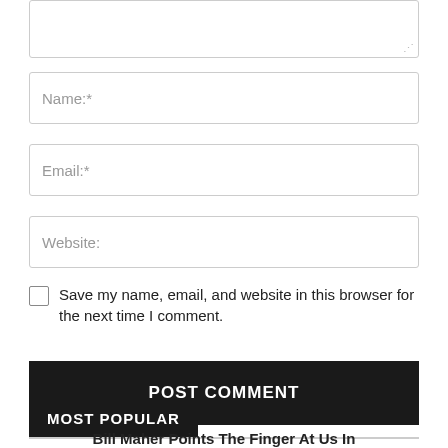[Figure (screenshot): Textarea input field (partially visible at top, with resize handle)]
Name:*
Email:*
Website:
Save my name, email, and website in this browser for the next time I comment.
POST COMMENT
MOST POPULAR
Bill Maher Points The Finger At Us In